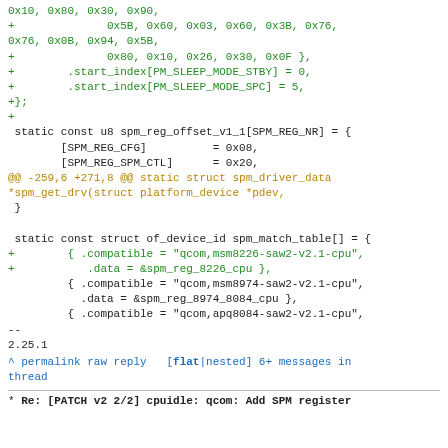Code diff showing SPM register definitions and spm_match_table entries including compatible strings for qcom msm8226, msm8974, and apq8084 devices
-- 2.25.1
^ permalink raw reply [flat|nested] 6+ messages in thread
* Re: [PATCH v2 2/2] cpuidle: qcom: Add SPM register